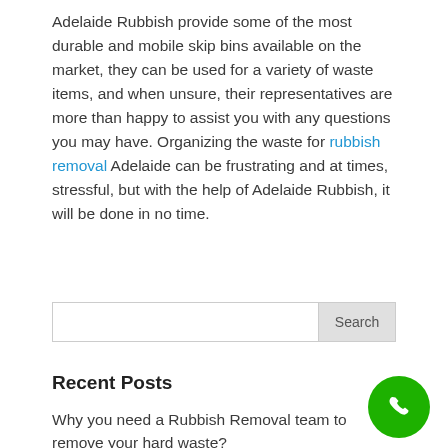Adelaide Rubbish provide some of the most durable and mobile skip bins available on the market, they can be used for a variety of waste items, and when unsure, their representatives are more than happy to assist you with any questions you may have. Organizing the waste for rubbish removal Adelaide can be frustrating and at times, stressful, but with the help of Adelaide Rubbish, it will be done in no time.
Search
Recent Posts
Why you need a Rubbish Removal team to remove your hard waste?
[Figure (illustration): Green circular phone/call button icon in bottom right corner]